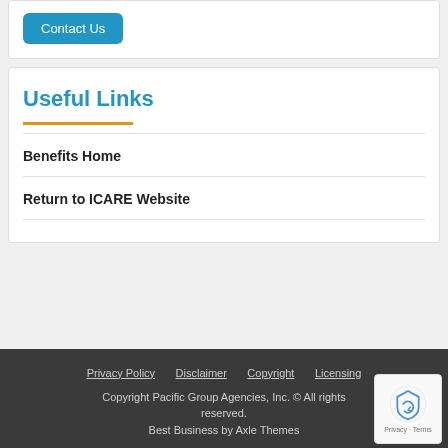Contact Us
Useful Links
Benefits Home
Return to ICARE Website
Privacy Policy   Disclaimer   Copyright   Licensing
Copyright Pacific Group Agencies, Inc. © All rights reserved.
Best Business by Axle Themes